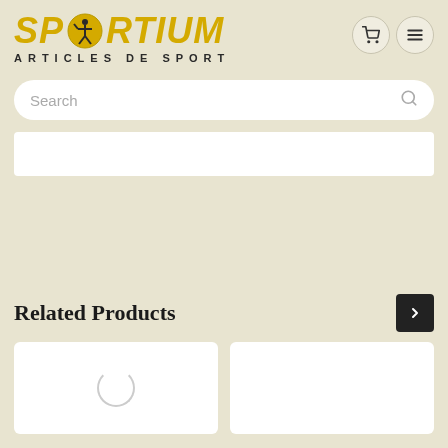[Figure (logo): Sportium Articles de Sport logo with yellow stylized text and circular athlete icon]
Search
Related Products
[Figure (other): Product card with loading spinner circle]
[Figure (other): Empty product card]